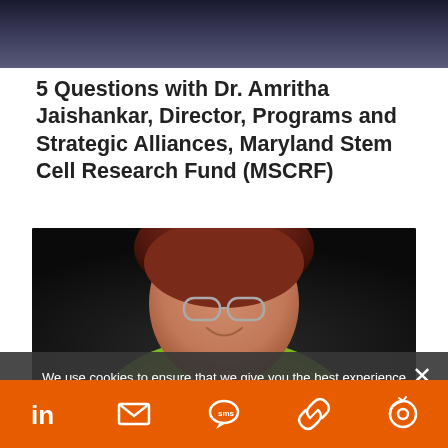[Figure (photo): Partial top photo of a person, cropped at the shoulder, dark background]
5 Questions with Dr. Amritha Jaishankar, Director, Programs and Strategic Alliances, Maryland Stem Cell Research Fund (MSCRF)
[Figure (photo): Portrait photo of Dr. Amritha Jaishankar, a woman with short curly reddish-brown hair, glasses, smiling, wearing a lime green top, dark background]
We use cookies to ensure that we give you the best experience on our website. If you continue to use this site we will assume that you are happy with it.
Judy Costello Appointed as Special Projects Manager, Office of...
LinkedIn | Email | SMS | Link | Other icon